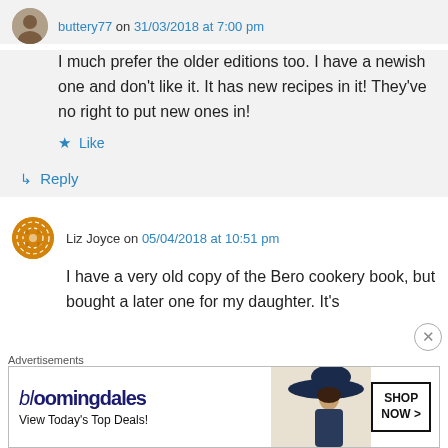buttery77 on 31/03/2018 at 7:00 pm
I much prefer the older editions too. I have a newish one and don't like it. It has new recipes in it! They've no right to put new ones in!
Like
Reply
Liz Joyce on 05/04/2018 at 10:51 pm
I have a very old copy of the Bero cookery book, but bought a later one for my daughter. It's
Advertisements
[Figure (screenshot): Bloomingdale's advertisement banner with logo, tagline 'View Today's Top Deals!' and 'SHOP NOW >' button, with a woman in a wide-brim hat.]